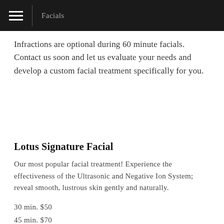Facials
Infractions are optional during 60 minute facials. Contact us soon and let us evaluate your needs and develop a custom facial treatment specifically for you.
Lotus Signature Facial
Our most popular facial treatment! Experience the effectiveness of the Ultrasonic and Negative Ion System; reveal smooth, lustrous skin gently and naturally.
30 min. $50
45 min. $70
60 min. $85